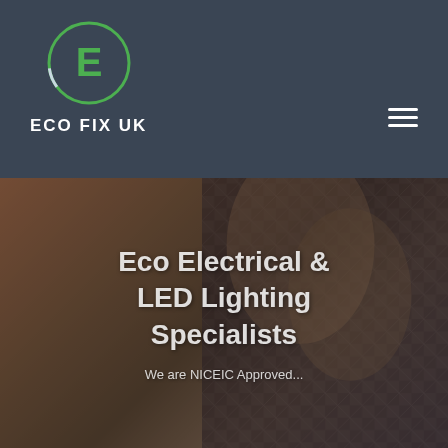[Figure (logo): ECO FIX UK logo: green circle with letter E inside, company name below in white bold text]
[Figure (photo): Hero background photo showing a person wearing leather gloves and a patterned fabric jacket, with a dark warm overlay. Overlaid text reads 'Eco Electrical & LED Lighting Specialists' and 'We are NICEIC Approved...']
Eco Electrical & LED Lighting Specialists
We are NICEIC Approved...